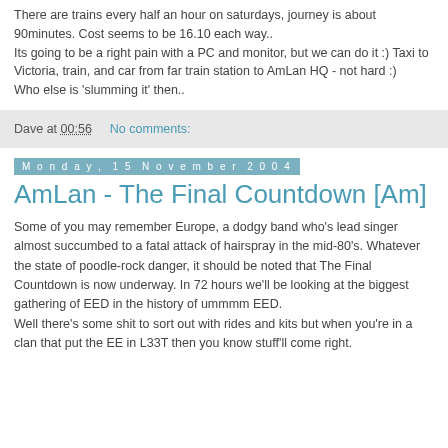There are trains every half an hour on saturdays, journey is about 90minutes. Cost seems to be 16.10 each way..
Its going to be a right pain with a PC and monitor, but we can do it :) Taxi to Victoria, train, and car from far train station to AmLan HQ - not hard :)
Who else is 'slumming it' then..
Dave at 00:56    No comments:
Monday, 15 November 2004
AmLan - The Final Countdown [Am]
Some of you may remember Europe, a dodgy band who's lead singer almost succumbed to a fatal attack of hairspray in the mid-80's. Whatever the state of poodle-rock danger, it should be noted that The Final Countdown is now underway. In 72 hours we'll be looking at the biggest gathering of EED in the history of ummmm EED.
Well there's some shit to sort out with rides and kits but when you're in a clan that put the EE in L33T then you know stuff'll come right.